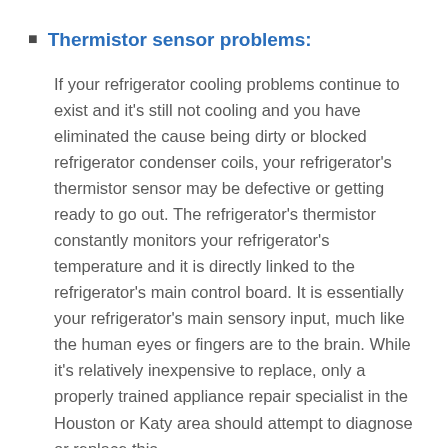Thermistor sensor problems:
If your refrigerator cooling problems continue to exist and it's still not cooling and you have eliminated the cause being dirty or blocked refrigerator condenser coils, your refrigerator's thermistor sensor may be defective or getting ready to go out. The refrigerator's thermistor constantly monitors your refrigerator's temperature and it is directly linked to the refrigerator's main control board. It is essentially your refrigerator's main sensory input, much like the human eyes or fingers are to the brain. While it's relatively inexpensive to replace, only a properly trained appliance repair specialist in the Houston or Katy area should attempt to diagnose or replace this